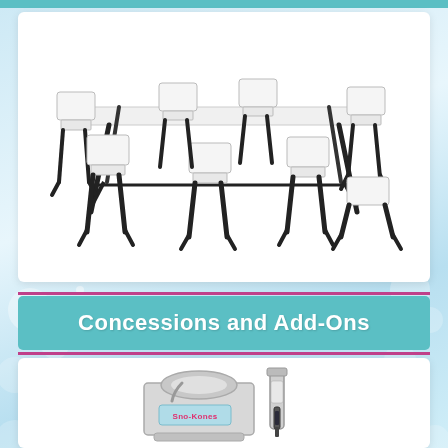[Figure (photo): White folding table with six white folding chairs arranged around it, on a white background]
Concessions and Add-Ons
[Figure (photo): Sno-Kones brand snow cone shaving machine, stainless steel, with a syrup dispenser on the right side]